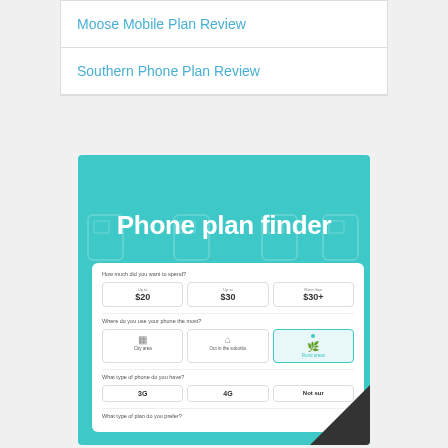Moose Mobile Plan Review
Southern Phone Plan Review
[Figure (infographic): Phone plan finder tool interface on teal background showing filter options: How much did you want to spend? (Up to $20, Up to $30, More than $30+), Where do you use your phone the most? (City area, Out in the suburbs, Rural areas - selected), What type of phone do you have? (3G, 4G, Not sure), and What type of plan do you prefer?]